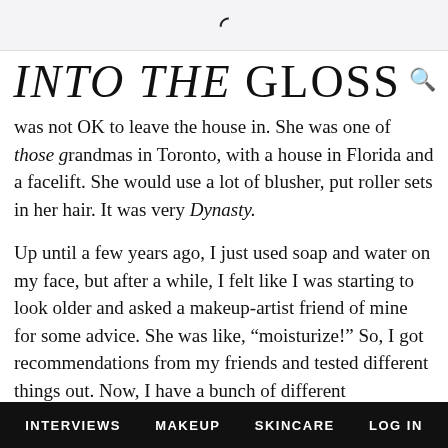G (logo icon)
INTO THE GLOSS
was not OK to leave the house in. She was one of those grandmas in Toronto, with a house in Florida and a facelift. She would use a lot of blusher, put roller sets in her hair. It was very Dynasty.
Up until a few years ago, I just used soap and water on my face, but after a while, I felt like I was starting to look older and asked a makeup-artist friend of mine for some advice. She was like, “moisturize!” So, I got recommendations from my friends and tested different things out. Now, I have a bunch of different moisturizers that I use and each one
INTERVIEWS   MAKEUP   SKINCARE   LOG IN